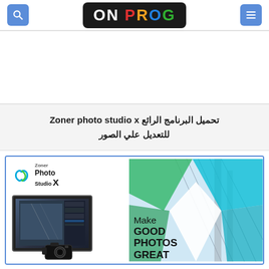ON PROG — website header with search and menu buttons
[Figure (screenshot): Advertisement / banner area (blank white space)]
تحميل البرنامج الرائع Zoner photo studio x للتعديل علي الصور
[Figure (screenshot): Zoner Photo Studio X promotional banner showing logo, device mockup with photo editing software, decorative green/teal wing shapes, and text 'Make GOOD PHOTOS GREAT']